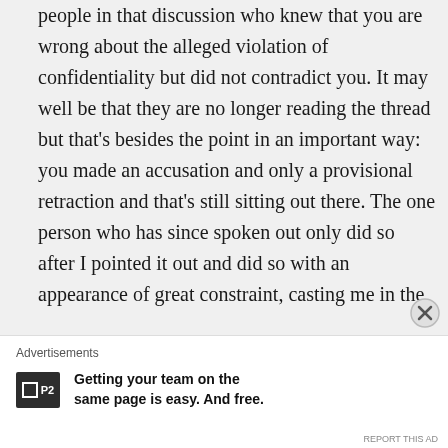people in that discussion who knew that you are wrong about the alleged violation of confidentiality but did not contradict you. It may well be that they are no longer reading the thread but that's besides the point in an important way: you made an accusation and only a provisional retraction and that's still sitting out there. The one person who has since spoken out only did so after I pointed it out and did so with an appearance of great constraint, casting me in the
Advertisements
Getting your team on the same page is easy. And free.